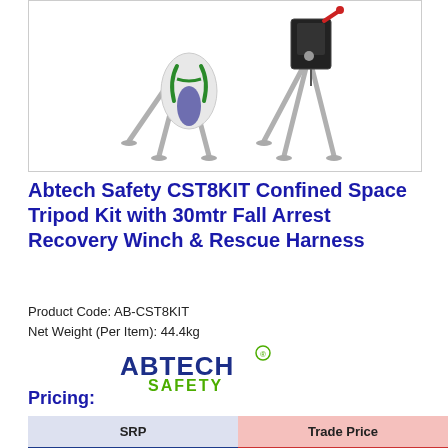[Figure (photo): Product photo showing Abtech Safety CST8KIT Confined Space Tripod Kit with a rescue harness on the left and a fall arrest recovery winch attached to the tripod on the right, against a white background.]
Abtech Safety CST8KIT Confined Space Tripod Kit with 30mtr Fall Arrest Recovery Winch & Rescue Harness
Product Code: AB-CST8KIT
Net Weight (Per Item): 44.4kg
[Figure (logo): Abtech Safety logo: ABTECH in dark blue bold uppercase, SAFETY in green, with a small green registered trademark circle symbol.]
Pricing:
| SRP | Trade Price |
| --- | --- |
| £2,343.75 | Login |